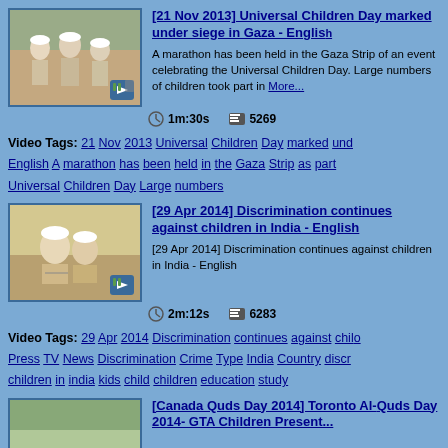[Figure (photo): Video thumbnail showing children in white caps/clothing outdoors, marathon scene in Gaza Strip]
[21 Nov 2013] Universal Children Day marked under siege in Gaza - English
A marathon has been held in the Gaza Strip as part of an event celebrating the Universal Children's Day. Large numbers of children took part in... More...
1m:30s   5269
Video Tags: 21 Nov 2013 Universal Children Day marked under English A marathon has been held in the Gaza Strip as part Universal Children Day Large numbers
[Figure (photo): Video thumbnail showing Indian children in white caps studying/writing]
[29 Apr 2014] Discrimination continues against children in India - English
[29 Apr 2014] Discrimination continues against children in India - English
2m:12s   6283
Video Tags: 29 Apr 2014 Discrimination continues against chil Press TV News Discrimination Crime Type India Country discr children in india kids child children education study
[Figure (photo): Video thumbnail for Canada Quds Day 2014 Toronto Al-Quds Day GTA Children Present]